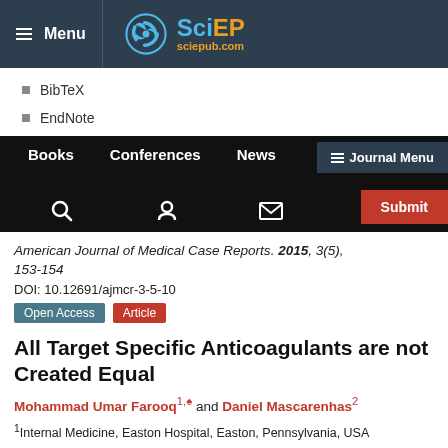Menu | SciEP sciepub.com
BibTeX
EndNote
Books   Conferences   News   ≡ Journal Menu   Submit
American Journal of Medical Case Reports. 2015, 3(5), 153-154
DOI: 10.12691/ajmcr-3-5-10
Open Access  Article
All Target Specific Anticoagulants are not Created Equal
Mohammad Umar Farooq1,♠ and Daniel Mascarenhas2
1Internal Medicine, Easton Hospital, Easton, Pennsylvania, USA